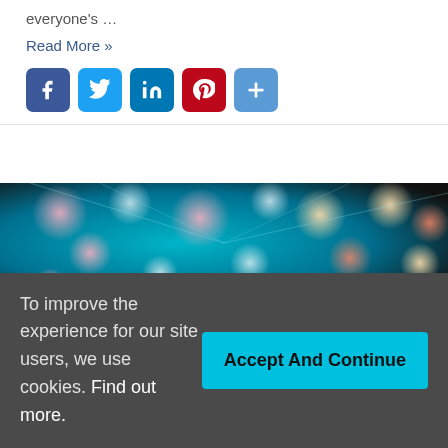everyone's …
Read More »
[Figure (other): Social sharing icons: Facebook (blue), Twitter (light blue), LinkedIn (blue), Pinterest (red), More/Share (blue plus sign)]
[Figure (photo): Bokeh photography of colourful glowing circles (pink, orange, white) against a teal/blue background, with a partially visible hand in the lower centre]
To improve the experience for our site users, we use cookies. Find out more.
Accept And Continue